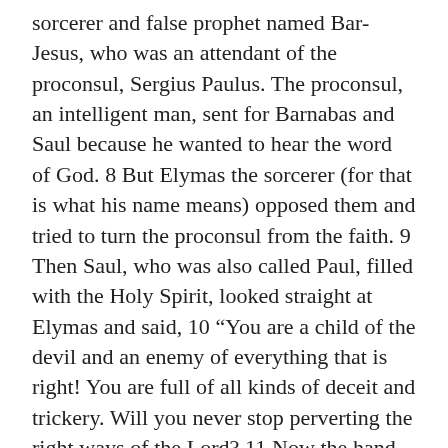sorcerer and false prophet named Bar-Jesus, who was an attendant of the proconsul, Sergius Paulus. The proconsul, an intelligent man, sent for Barnabas and Saul because he wanted to hear the word of God. 8 But Elymas the sorcerer (for that is what his name means) opposed them and tried to turn the proconsul from the faith. 9 Then Saul, who was also called Paul, filled with the Holy Spirit, looked straight at Elymas and said, 10 “You are a child of the devil and an enemy of everything that is right! You are full of all kinds of deceit and trickery. Will you never stop perverting the right ways of the Lord? 11 Now the hand of the Lord is against you. You are going to be blind for a time, not even able to see the light of the sun.” Immediately mist and darkness came over him, and he groped about, seeking someone to lead him by the hand. 12 When the proconsul saw what had